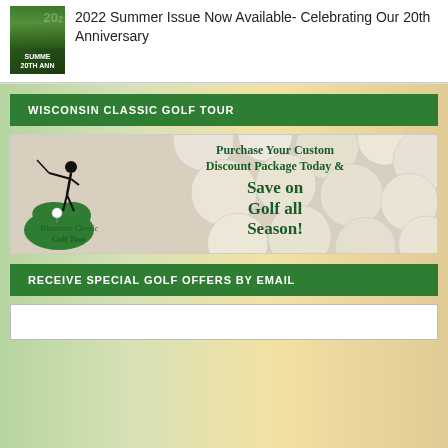[Figure (photo): Thumbnail of 2022 Summer Issue magazine cover with golf course background]
2022 Summer Issue Now Available- Celebrating Our 20th Anniversary
WISCONSIN CLASSIC GOLF TOUR
[Figure (infographic): Advertisement for Wisconsin Classic Golf Tour: Purchase Your Custom Discount Package Today & Save on Golf all Season! with golfer silhouette and Wisconsin state shape logo on golf balls background]
RECEIVE SPECIAL GOLF OFFERS BY EMAIL
[Figure (other): Email input field text box]